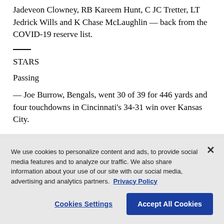Jadeveon Clowney, RB Kareem Hunt, C JC Tretter, LT Jedrick Wills and K Chase McLaughlin — back from the COVID-19 reserve list.
STARS
Passing
— Joe Burrow, Bengals, went 30 of 39 for 446 yards and four touchdowns in Cincinnati's 34-31 win over Kansas City.
We use cookies to personalize content and ads, to provide social media features and to analyze our traffic. We also share information about your use of our site with our social media, advertising and analytics partners. Privacy Policy